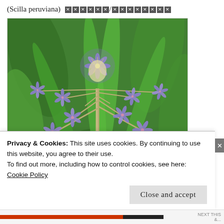(Scilla peruviana) ██████/████████
[Figure (photo): Photograph of Scilla peruviana plant showing a cluster of blue-purple star-shaped flowers on tall stems with green leaves in the background]
Privacy & Cookies: This site uses cookies. By continuing to use this website, you agree to their use.
To find out more, including how to control cookies, see here:
Cookie Policy
Close and accept